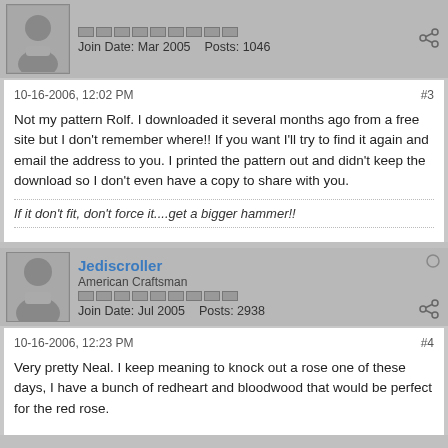Join Date: Mar 2005    Posts: 1046
10-16-2006, 12:02 PM  #3
Not my pattern Rolf. I downloaded it several months ago from a free site but I don't remember where!! If you want I'll try to find it again and email the address to you. I printed the pattern out and didn't keep the download so I don't even have a copy to share with you.
If it don't fit, don't force it....get a bigger hammer!!
Jediscroller
American Craftsman
Join Date: Jul 2005    Posts: 2938
10-16-2006, 12:23 PM  #4
Very pretty Neal. I keep meaning to knock out a rose one of these days, I have a bunch of redheart and bloodwood that would be perfect for the red rose.